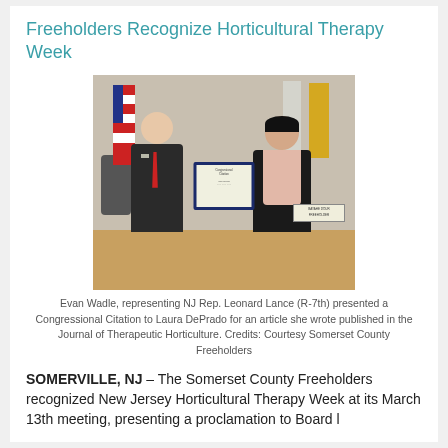Freeholders Recognize Horticultural Therapy Week
[Figure (photo): Evan Wadle and Laura DePrado standing together holding a Congressional Citation in a government chamber room with American and NJ flags in the background.]
Evan Wadle, representing NJ Rep. Leonard Lance (R-7th) presented a Congressional Citation to Laura DePrado for an article she wrote published in the Journal of Therapeutic Horticulture. Credits: Courtesy Somerset County Freeholders
SOMERVILLE, NJ – The Somerset County Freeholders recognized New Jersey Horticultural Therapy Week at its March 13th meeting, presenting a proclamation to Board l...